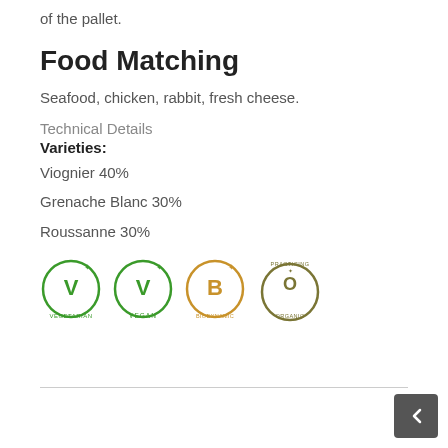of the pallet.
Food Matching
Seafood, chicken, rabbit, fresh cheese.
Technical Details
Varieties:
Viognier 40%
Grenache Blanc 30%
Roussanne 30%
[Figure (logo): Four certification badges: Vegetarian (green), Vegan (green), Biodynamic (gold), Practicing Organic (olive/brown)]